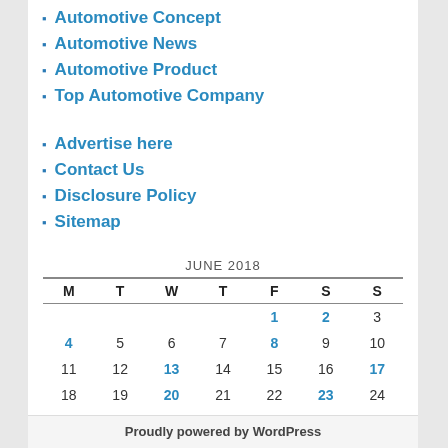Automotive Concept
Automotive News
Automotive Product
Top Automotive Company
Advertise here
Contact Us
Disclosure Policy
Sitemap
| M | T | W | T | F | S | S |
| --- | --- | --- | --- | --- | --- | --- |
|  |  |  |  | 1 | 2 | 3 |
| 4 | 5 | 6 | 7 | 8 | 9 | 10 |
| 11 | 12 | 13 | 14 | 15 | 16 | 17 |
| 18 | 19 | 20 | 21 | 22 | 23 | 24 |
| 25 | 26 | 27 | 28 | 29 | 30 |  |
Proudly powered by WordPress